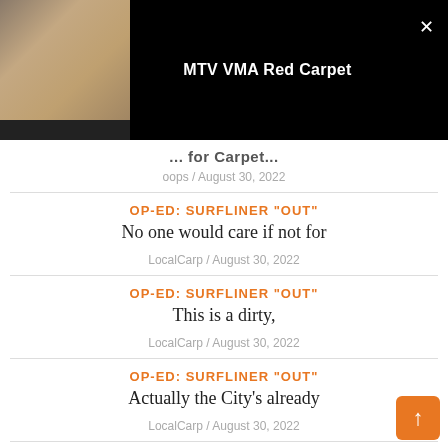[Figure (photo): Person in sparkly dress on red carpet at MTV VMA event, top navigation bar with black background]
MTV VMA Red Carpet
... for Carpet...
oops / August 30, 2022
OP-ED: SURFLINER "OUT"
No one would care if not for
LocalCarp / August 30, 2022
OP-ED: SURFLINER "OUT"
This is a dirty,
LocalCarp / August 30, 2022
OP-ED: SURFLINER "OUT"
Actually the City's already
LocalCarp / August 30, 2022
OP-ED: SURFLINER "OUT"
Careful who you listen to on